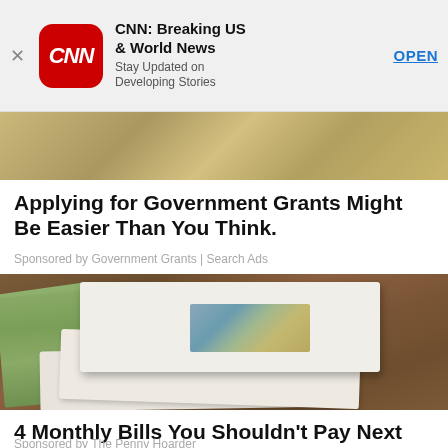[Figure (screenshot): CNN app advertisement banner with CNN red rounded square logo, title 'CNN: Breaking US & World News', subtitle 'Stay Updated on Developing Stories', and blue 'OPEN' link. Close X button on the left.]
[Figure (photo): Photo of US dollar bills spread out, partially visible at top]
Applying for Government Grants Might Be Easier Than You Think.
Sponsored by Government Grants | Search Ads
[Figure (photo): Photo of white envelopes with $100 bills visible through envelope window, stacked on wooden surface]
4 Monthly Bills You Shouldn't Pay Next Month
Sponsored by The Penny Hoarder